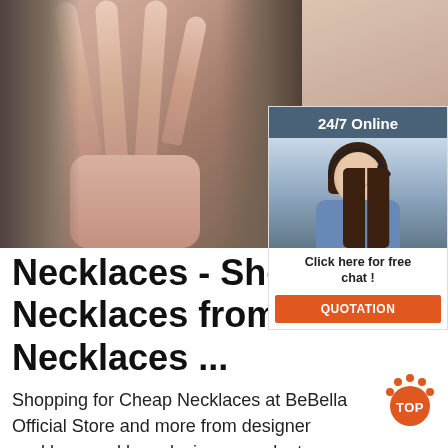[Figure (photo): Top banner with two photos: left shows a woman's hand near her neck/collarbone with fingers extended, right shows a woman's bare shoulder/neck area. Overlaid on the right is a 24/7 online chat widget showing a customer service woman with a headset.]
Necklaces - Shop Cheap Necklaces from China Necklaces ...
Shopping for Cheap Necklaces at BeBella Official Store and more from designer necklace,necklace designer,pendant necklace,pearl pendant